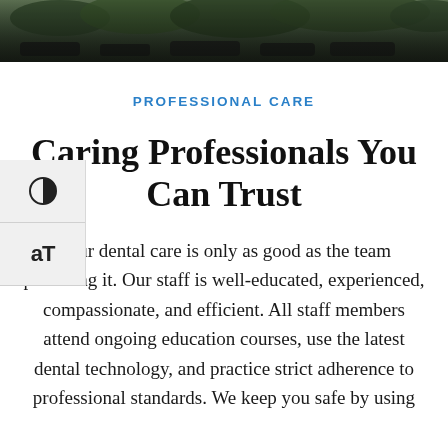[Figure (photo): Dark outdoor photo strip showing cars and foliage/trees in background, cropped at top of page]
PROFESSIONAL CARE
Caring Professionals You Can Trust
Your dental care is only as good as the team providing it. Our staff is well-educated, experienced, compassionate, and efficient. All staff members attend ongoing education courses, use the latest dental technology, and practice strict adherence to professional standards. We keep you safe by using